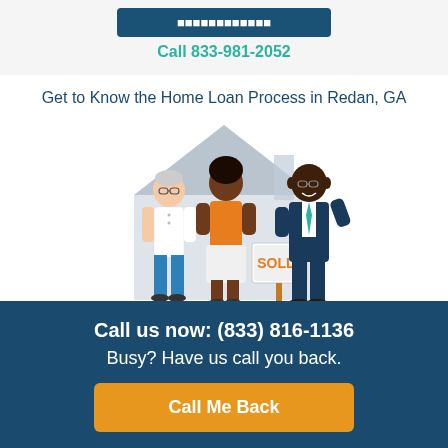Call 833-981-2052
Get to Know the Home Loan Process in Redan, GA
[Figure (illustration): Illustration of two people (an older man in white shirt and blue pants, and a woman in orange top and white skirt) standing with a real estate agent in a dark suit with teal tie, in front of a house silhouette with a SOLD! sign.]
Call us now: (833) 816-1136
Busy? Have us call you back.
Call Me Back